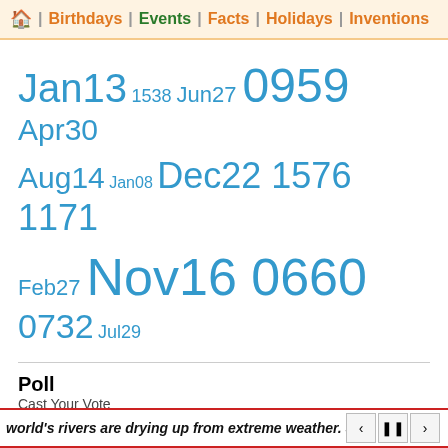🏠 | Birthdays | Events | Facts | Holidays | Inventions
Jan13 1538 Jun27 0959 Apr30
Aug14 Jan08 Dec22 1576 1171
Feb27 Nov16 0660 0732 Jul29
Poll
Cast Your Vote
If you could time-travel, where would you go?
Past
Future
Present
world's rivers are drying up from extreme weather. See how 6